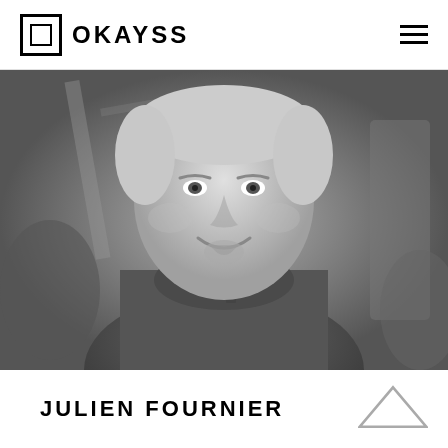[Figure (logo): OKAYSS logo with square icon and hamburger menu]
[Figure (photo): Black and white portrait photo of Julien Fournier, a man smiling, wearing a polo shirt, with blurred background]
JULIEN FOURNIER